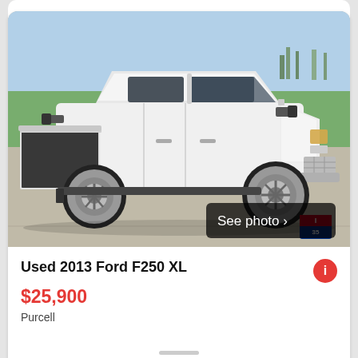[Figure (photo): White Ford F250 XL pickup truck parked on pavement with green grass and sky in background. A 'See photo >' button overlay is visible in the lower right of the image.]
Used 2013 Ford F250 XL
$25,900
Purcell
2013
30+ days ago